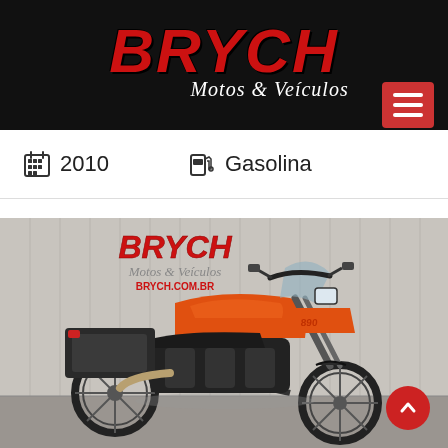BRYCH Motos & Veículos
2010   Gasolina
[Figure (photo): Orange adventure motorcycle (appears to be a KTM or similar) parked in front of a wall with BRYCH Motos & Veículos logo and BRYCH.COM.BR URL printed on it. The bike is orange and black with luggage rack, knobby tires, and tall suspension.]